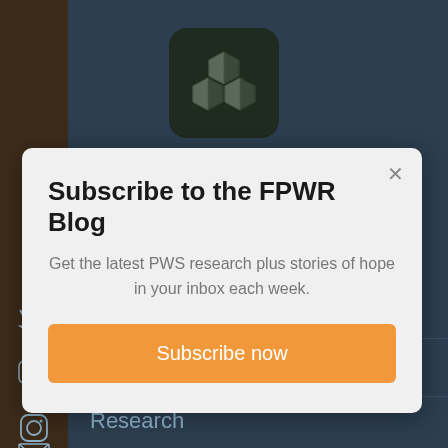[Figure (logo): Dark green rounded square logo with 3D cube/blocks arrangement icon in gray]
Subscribe to the FPWR Blog
Get the latest PWS research plus stories of hope in your inbox each week.
Subscribe now
What is PWS
Our Foundation
Research